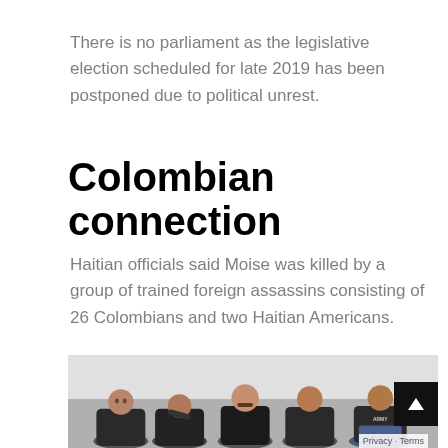There is no parliament as the legislative election scheduled for late 2019 has been postponed due to political unrest.
Colombian connection
Haitian officials said Moise was killed by a group of trained foreign assassins consisting of 26 Colombians and two Haitian Americans.
[Figure (photo): A group of men dressed in dark clothing sitting on the floor against a white background, apparently suspects in custody.]